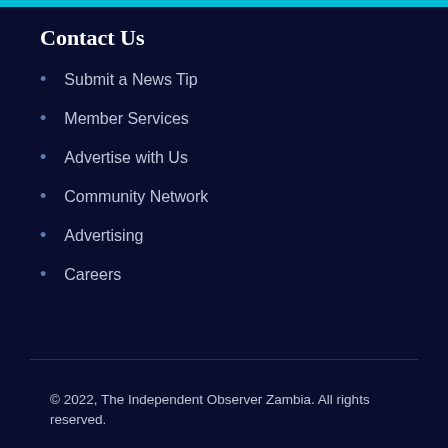Contact Us
Submit a News Tip
Member Services
Advertise with Us
Community Network
Advertising
Careers
© 2022, The Independent Observer Zambia. All rights reserved.